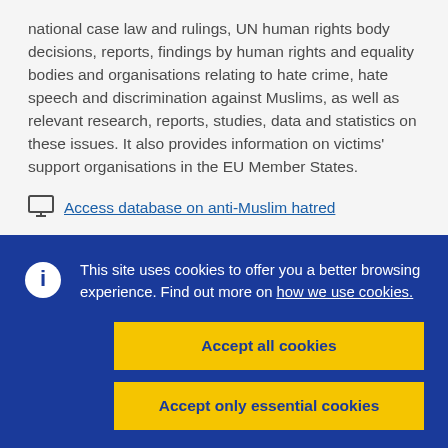national case law and rulings, UN human rights body decisions, reports, findings by human rights and equality bodies and organisations relating to hate crime, hate speech and discrimination against Muslims, as well as relevant research, reports, studies, data and statistics on these issues. It also provides information on victims' support organisations in the EU Member States.
Access database on anti-Muslim hatred
This site uses cookies to offer you a better browsing experience. Find out more on how we use cookies.
Accept all cookies
Accept only essential cookies